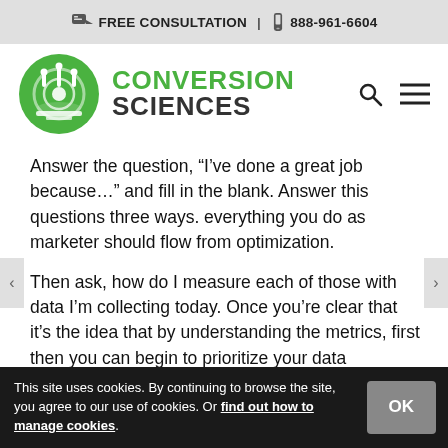FREE CONSULTATION | 888-961-6604
[Figure (logo): Conversion Sciences logo with green circle icon and text]
Answer the question, “I’ve done a great job because…” and fill in the blank. Answer this questions three ways. everything you do as marketer should flow from optimization.
Then ask, how do I measure each of those with data I’m collecting today. Once you’re clear that it’s the idea that by understanding the metrics, first then you can begin to prioritize your data gathering and create based on the context that’s being emerged from the data.
This site uses cookies. By continuing to browse the site, you agree to our use of cookies. Or find out how to manage cookies.